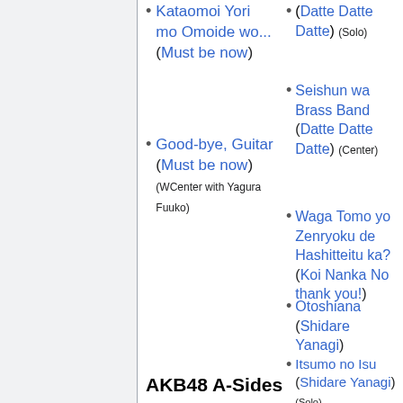Kataomoi Yori mo Omoide wo... (Must be now)
Good-bye, Guitar (Must be now) (WCenter with Yagura Fuuko)
(Datte Datte Datte) (Solo)
Seishun wa Brass Band (Datte Datte Datte) (Center)
Waga Tomo yo Zenryoku de Hashitteitu ka? (Koi Nanka No thank you!)
Otoshiana (Shidare Yanagi)
Itsumo no Isu (Shidare Yanagi) (Solo)
AKB48 A-Sides